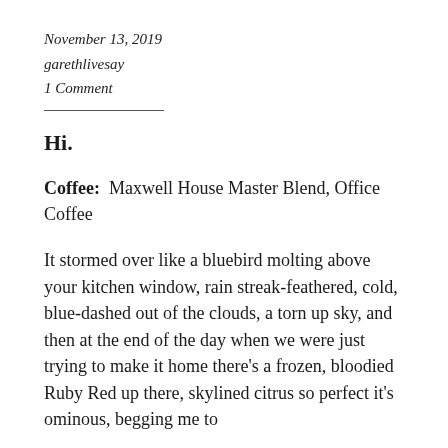November 13, 2019
garethlivesay
1 Comment
Hi.
Coffee:  Maxwell House Master Blend, Office Coffee
It stormed over like a bluebird molting above your kitchen window, rain streak-feathered, cold, blue-dashed out of the clouds, a torn up sky, and then at the end of the day when we were just trying to make it home there’s a frozen, bloodied Ruby Red up there, skylined citrus so perfect it’s ominous, begging me to